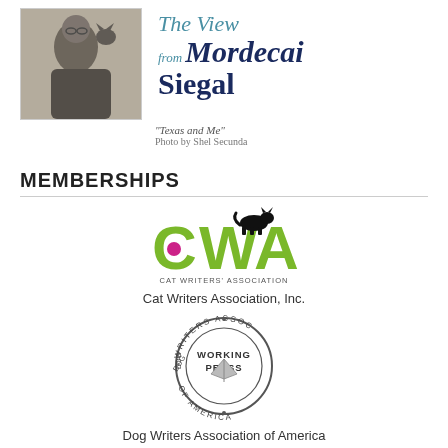[Figure (photo): Black and white photo of Mordecai Siegal with a cat]
The View from Mordecai Siegal
"Texas and Me"
Photo by Shel Secunda
MEMBERSHIPS
[Figure (logo): Cat Writers Association (CWA) logo with a cat silhouette on top of large green CWA letters and a pink ball, with text CAT WRITERS' ASSOCIATION below]
Cat Writers Association, Inc.
[Figure (logo): Dog Writers Association of America Working Press circular badge logo]
Dog Writers Association of America